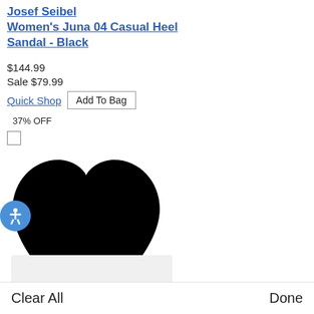Josef Seibel Women's Juna 04 Casual Heel Sandal - Black
$144.99
Sale $79.99
Quick Shop  Add To Bag
37% OFF
[Figure (illustration): Large black heart icon/symbol]
Clear All    Done